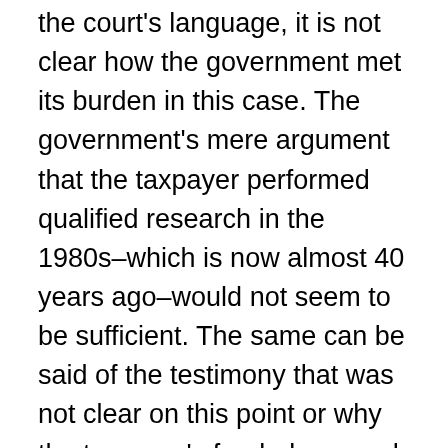the court's language, it is not clear how the government met its burden in this case. The government's mere argument that the taxpayer performed qualified research in the 1980s–which is now almost 40 years ago–would not seem to be sufficient. The same can be said of the testimony that was not clear on this point or why the taxpayer's funded research and non-qualified activity defenses weren't accepted.
The court passed on the government's burden in an erroneous refund suit and focused on the burden for the taxpayer. Oddly, the court